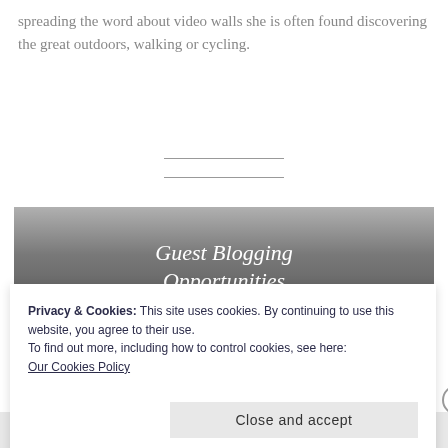spreading the word about video walls she is often found discovering the great outdoors, walking or cycling.
[Figure (illustration): Banner image with text 'Guest Blogging Opportunities' overlaid on a grayscale photo of an interior space with brick walls and large windows.]
Privacy & Cookies: This site uses cookies. By continuing to use this website, you agree to their use.
To find out more, including how to control cookies, see here: Our Cookies Policy
Close and accept